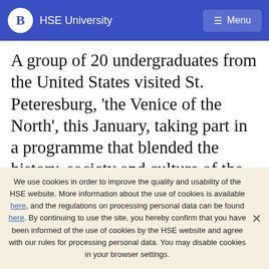HSE University  Menu
A group of 20 undergraduates from the United States visited St. Peteresburg, ‘the Venice of the North’, this January, taking part in a programme that blended the history, society and culture of the Russian Empire’s capital. Participants arrived from Mount Holyoke College and Smith College, opting to spend two weeks of their winter
We use cookies in order to improve the quality and usability of the HSE website. More information about the use of cookies is available here, and the regulations on processing personal data can be found here. By continuing to use the site, you hereby confirm that you have been informed of the use of cookies by the HSE website and agree with our rules for processing personal data. You may disable cookies in your browser settings.